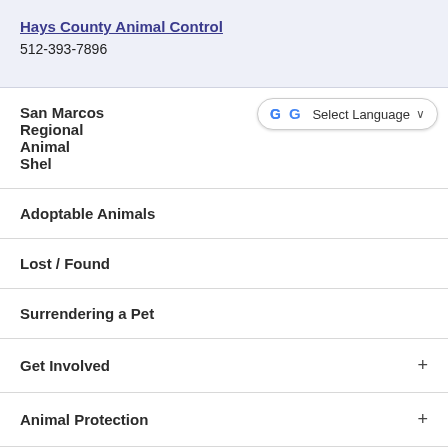Hays County Animal Control
512-393-7896
San Marcos Regional Animal Shelter
[Figure (screenshot): Google Translate widget showing 'Select Language' with dropdown arrow]
Adoptable Animals
Lost / Found
Surrendering a Pet
Get Involved +
Animal Protection +
Statistics and Reports
Meet our Staff